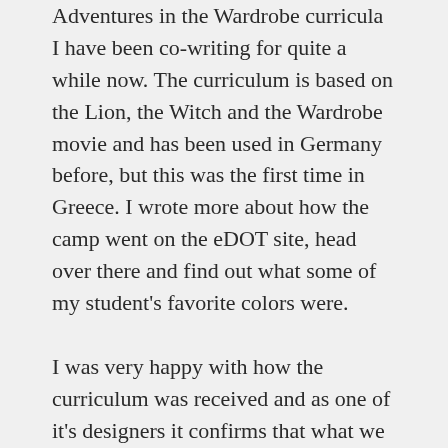Adventures in the Wardrobe curricula I have been co-writing for quite a while now. The curriculum is based on the Lion, the Witch and the Wardrobe movie and has been used in Germany before, but this was the first time in Greece. I wrote more about how the camp went on the eDOT site, head over there and find out what some of my student's favorite colors were.
I was very happy with how the curriculum was received and as one of it's designers it confirms that what we are doing is worth the time and effort. That alone would have made our time in Greece worthwhile, but what happened the day after the camp ended touched me deeper than just about anything ever has before.